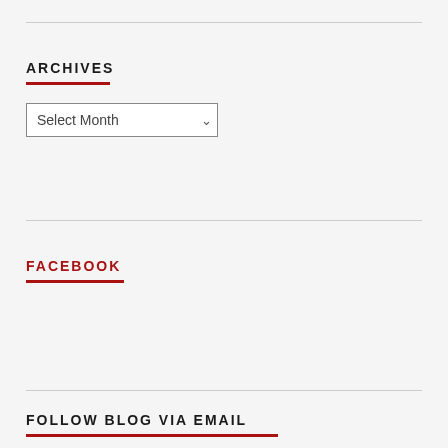ARCHIVES
Select Month
FACEBOOK
FOLLOW BLOG VIA EMAIL